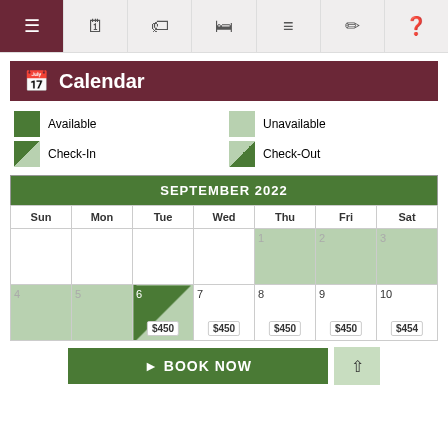[Figure (screenshot): Navigation bar with icons: hamburger menu (active/dark red), calendar, tag, bed, list, edit, help]
Calendar
[Figure (infographic): Legend showing Available (dark green square), Unavailable (light green square), Check-In (dark/light split diagonal square), Check-Out (light/dark split diagonal square)]
| Sun | Mon | Tue | Wed | Thu | Fri | Sat |
| --- | --- | --- | --- | --- | --- | --- |
|  |  |  |  | 1 | 2 | 3 |
| 4 | 5 | 6 $450 | 7 $450 | 8 $450 | 9 $450 | 10 $454 |
BOOK NOW